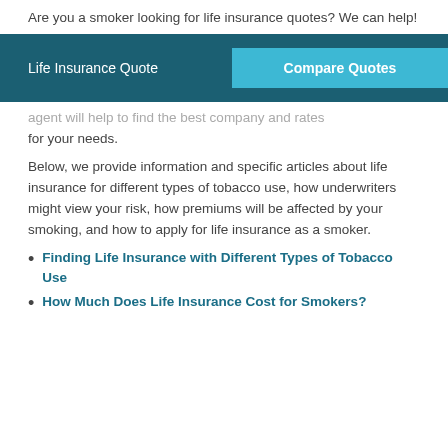Last Updated: April 2022
Are you a smoker looking for life insurance quotes? We can help!
[Figure (other): Banner with 'Life Insurance Quote' label and 'Compare Quotes' button on teal/dark teal background]
agent will help to find the best company and rates for your needs.
Below, we provide information and specific articles about life insurance for different types of tobacco use, how underwriters might view your risk, how premiums will be affected by your smoking, and how to apply for life insurance as a smoker.
Finding Life Insurance with Different Types of Tobacco Use
How Much Does Life Insurance Cost for Smokers?